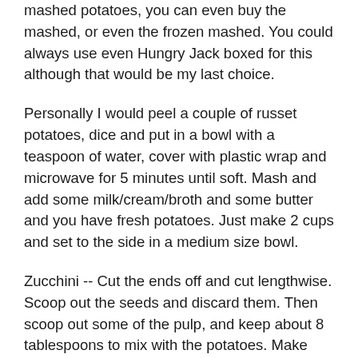mashed potatoes, you can even buy the mashed, or even the frozen mashed. You could always use even Hungry Jack boxed for this although that would be my last choice.
Personally I would peel a couple of russet potatoes, dice and put in a bowl with a teaspoon of water, cover with plastic wrap and microwave for 5 minutes until soft. Mash and add some milk/cream/broth and some butter and you have fresh potatoes. Just make 2 cups and set to the side in a medium size bowl.
Zucchini -- Cut the ends off and cut lengthwise. Scoop out the seeds and discard them. Then scoop out some of the pulp, and keep about 8 tablespoons to mix with the potatoes. Make sure to scoop out enough pulp so you can stuff with the filling. If the the zucchini doesn't sit flat, just cut a little piece off